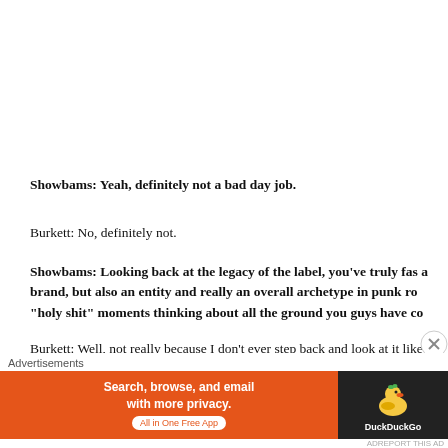Showbams: Yeah, definitely not a bad day job.
Burkett: No, definitely not.
Showbams: Looking back at the legacy of the label, you've truly fas a brand, but also an entity and really an overall archetype in punk ro “holy shit” moments thinking about all the ground you guys have co
Burkett: Well, not really because I don’t ever step back and look at it like label. It’s the only thing I’ve ever done and probably know how to do.
Advertisements
[Figure (screenshot): DuckDuckGo advertisement banner: orange background with text 'Search, browse, and email with more privacy. All in One Free App' and DuckDuckGo duck logo on dark background side.]